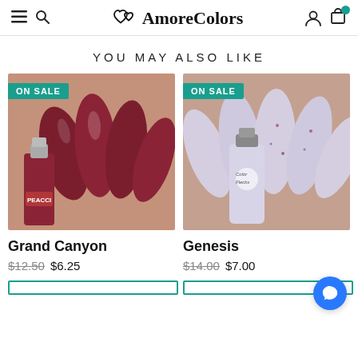AmoreColors - navigation header with hamburger, search, logo, user, and cart icons
YOU MAY ALSO LIKE
[Figure (photo): Close-up photo of dark red/burgundy painted nails holding a Peacci nail polish bottle, with ON SALE badge]
Grand Canyon
$12.50 $6.25
[Figure (photo): Close-up photo of speckled lavender/grey painted nails holding a Color Flecks nail polish bottle, with ON SALE badge]
Genesis
$14.00 $7.00